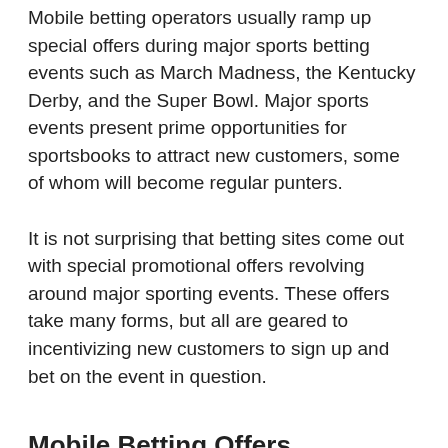Mobile betting operators usually ramp up special offers during major sports betting events such as March Madness, the Kentucky Derby, and the Super Bowl. Major sports events present prime opportunities for sportsbooks to attract new customers, some of whom will become regular punters.
It is not surprising that betting sites come out with special promotional offers revolving around major sporting events. These offers take many forms, but all are geared to incentivizing new customers to sign up and bet on the event in question.
Mobile Betting Offers